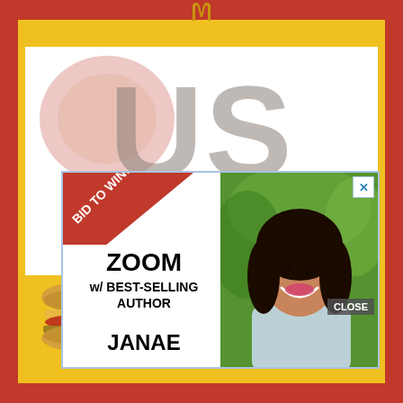[Figure (logo): McDonald's golden arches logo at top center]
[Figure (illustration): Large decorative 'US' text in red/brown partially visible at top of page]
[Figure (infographic): Advertisement overlay: 'BID TO WIN!' red diagonal banner, text 'ZOOM w/ BEST-SELLING AUTHOR JANAE', photo of smiling woman with curly hair against green background, CLOSE button]
[Figure (infographic): McDonald's bottom advertisement showing two breakfast sandwiches and text 'buy one breakfast sandwich, get one free']
buy one breakfast sandwich, get one free